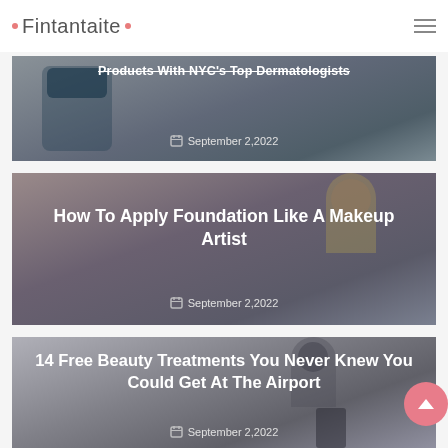Fintantaite
[Figure (photo): Partially visible card with Vaseline product image and strikethrough title text 'Products With NYC's Top Dermatologists', dated September 2, 2022]
[Figure (photo): Beauty article card with a woman in yellow top, title 'How To Apply Foundation Like A Makeup Artist', dated September 2, 2022]
How To Apply Foundation Like A Makeup Artist
September 2,2022
[Figure (photo): Beauty article card with a woman at airport wearing sunglasses, title '14 Free Beauty Treatments You Never Knew You Could Get At The Airport', dated September 2, 2022]
14 Free Beauty Treatments You Never Knew You Could Get At The Airport
September 2,2022